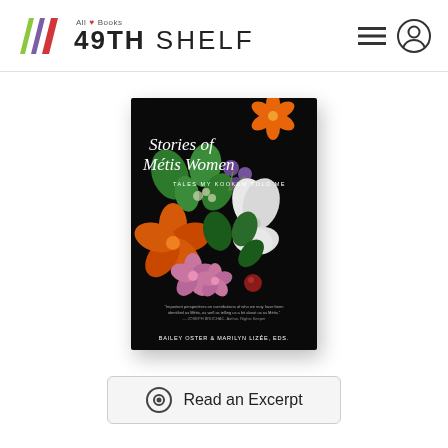All Books 49TH SHELF
[Figure (illustration): Book cover of 'Stories of Métis Women: Tales My Kookum Told Me' by Bailey Oster & Marilyn Lizée, eds. Black background with colorful beaded floral designs and handwritten-style title text.]
Read an Excerpt